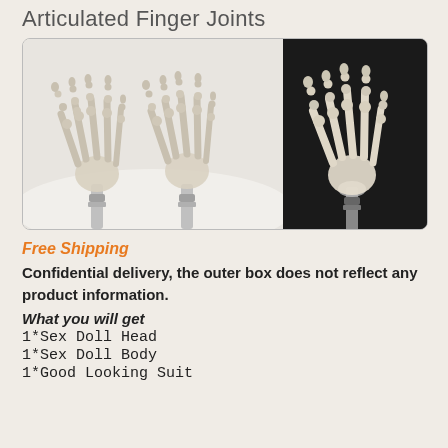Articulated Finger Joints
[Figure (photo): Three skeleton hand models with articulated finger joints mounted on metal rods/stands. Two on white background on the left, one on black background on the right.]
Free Shipping
Confidential delivery, the outer box does not reflect any product information.
What you will get
1*Sex Doll Head
1*Sex Doll Body
1*Good Looking Suit